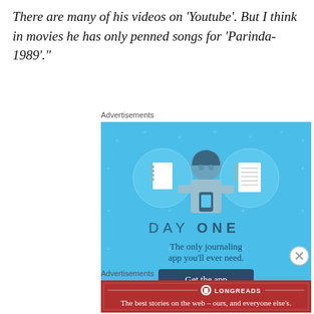There are many of his videos on 'Youtube'. But I think in movies he has only penned songs for 'Parinda-1989'."
Advertisements
[Figure (illustration): Day One journaling app advertisement. Blue background with illustrated character holding a phone, flanked by notebook icons. Text reads 'DAY ONE - The only journaling app you'll ever need.' with a dark blue 'Get the app' button.]
Advertisements
[Figure (illustration): Longreads advertisement. Red background with Longreads logo and text 'The best stories on the web – ours, and everyone else's.']